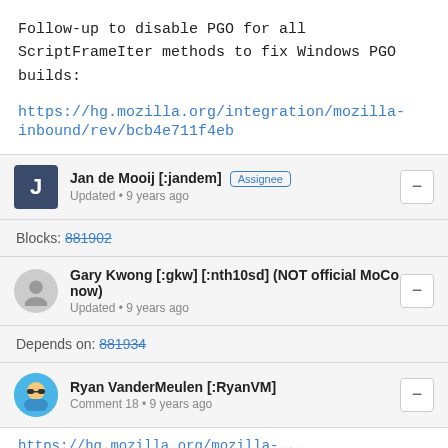Follow-up to disable PGO for all ScriptFrameIter methods to fix Windows PGO builds:
https://hg.mozilla.org/integration/mozilla-inbound/rev/bcb4e711f4eb
Jan de Mooij [:jandem] Assignee
Updated • 9 years ago
Blocks: 881902
Gary Kwong [:gkw] [:nth10sd] (NOT official MoCo now)
Updated • 9 years ago
Depends on: 881934
Ryan VanderMeulen [:RyanVM]
Comment 18 • 9 years ago
https://hg.mozilla.org/mozilla-...